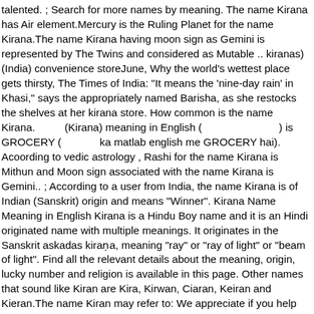talented. ; Search for more names by meaning. The name Kirana has Air element.Mercury is the Ruling Planet for the name Kirana.The name Kirana having moon sign as Gemini is represented by The Twins and considered as Mutable .. kiranas) (India) convenience storeJune, Why the world's wettest place gets thirsty, The Times of India: "It means the 'nine-day rain' in Khasi," says the appropriately named Barisha, as she restocks the shelves at her kirana store. How common is the name Kirana.          (Kirana) meaning in English (                          ) is GROCERY (             ka matlab english me GROCERY hai). Acoording to vedic astrology , Rashi for the name Kirana is Mithun and Moon sign associated with the name Kirana is Gemini.. ; According to a user from India, the name Kirana is of Indian (Sanskrit) origin and means "Winner". Kirana Name Meaning in English Kirana is a Hindu Boy name and it is an Hindi originated name with multiple meanings. It originates in the Sanskrit askadas kiraṇa, meaning "ray" or "ray of light" or "beam of light". Find all the relevant details about the meaning, origin, lucky number and religion is available in this page. Other names that sound like Kiran are Kira, Kirwan, Ciaran, Keiran and Kieran.The name Kiran may refer to: We appreciate if you help us to add more groceries names to this list. Get meaning and translation of Kirana in English language with grammar, synonyms and antonyms. Names of cereals, pulses, flours, vegetables, spices, dry fruits and meat in English and Telugu. A user from Germany says the name Kirana is of Unknown origin and means "Endif". H...